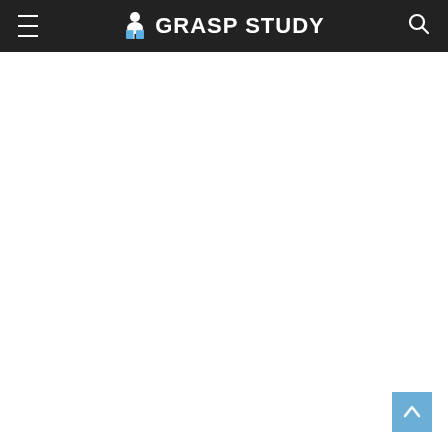GRASP STUDY
[Figure (logo): Grasp Study website header with hamburger menu on left, Grasp Study logo in center (person reading book icon with text), and search icon on right, all on dark background.]